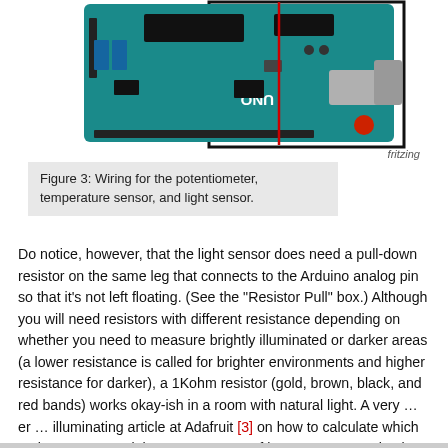[Figure (schematic): Arduino Uno board wiring diagram showing connections for potentiometer, temperature sensor, and light sensor, with red and black wires. Fritzing software diagram with a black border rectangle.]
Figure 3: Wiring for the potentiometer, temperature sensor, and light sensor.
Do notice, however, that the light sensor does need a pull-down resistor on the same leg that connects to the Arduino analog pin so that it's not left floating. (See the "Resistor Pull" box.) Although you will need resistors with different resistance depending on whether you need to measure brightly illuminated or darker areas (a lower resistance is called for brighter environments and higher resistance for darker), a 1Kohm resistor (gold, brown, black, and red bands) works okay-ish in a room with natural light. A very … er … illuminating article at Adafruit [3] on how to calculate which resistor to use and the exact amount of lux you're measuring is well worth reading.